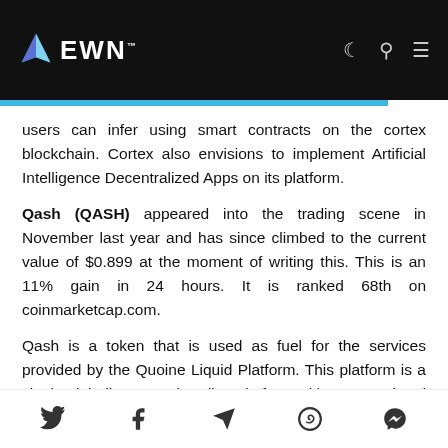EWN
users can infer using smart contracts on the cortex blockchain. Cortex also envisions to implement Artificial Intelligence Decentralized Apps on its platform.
Qash (QASH) appeared into the trading scene in November last year and has since climbed to the current value of $0.899 at the moment of writing this. This is an 11% gain in 24 hours. It is ranked 68th on coinmarketcap.com.
Qash is a token that is used as fuel for the services provided by the Quoine Liquid Platform. This platform is a single globally sourced trading platform with an associated suite of services that allow individuals to access the opportunities and wealth the new Crypto economy offers.
Social share icons: Twitter, Facebook, Telegram, WhatsApp, Messenger